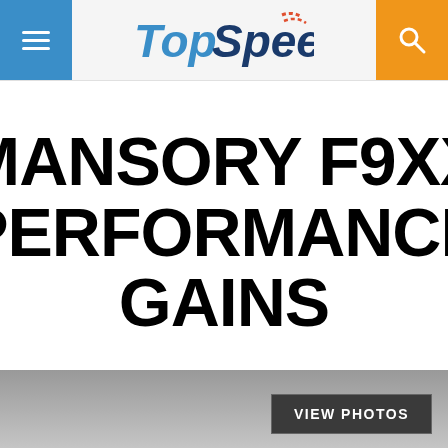TopSpeed
MANSORY F9XX PERFORMANCE GAINS
VIEW PHOTOS